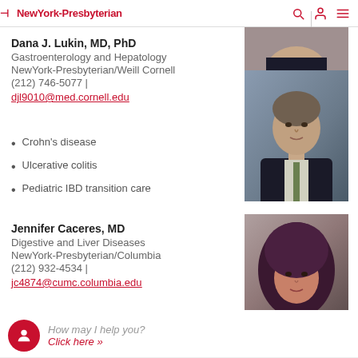NewYork-Presbyterian
[Figure (photo): Partial photo of a person at top right, cropped]
Dana J. Lukin, MD, PhD
Gastroenterology and Hepatology
NewYork-Presbyterian/Weill Cornell
(212) 746-5077 |
djl9010@med.cornell.edu
Crohn's disease
Ulcerative colitis
Pediatric IBD transition care
[Figure (photo): Professional headshot of Dana J. Lukin, MD, PhD - male doctor in dark suit with tie, gray background]
Jennifer Caceres, MD
Digestive and Liver Diseases
NewYork-Presbyterian/Columbia
(212) 932-4534 |
jc4874@cumc.columbia.edu
[Figure (photo): Professional headshot of Jennifer Caceres, MD - woman with dark purple/burgundy hair, partial crop]
How may I help you?
Click here »